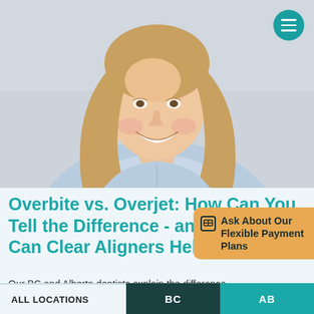[Figure (photo): Smiling young blonde woman with long hair wearing a light blue striped shirt, photographed against a light grey background]
Overbite vs. Overjet: How Can You Tell the Difference - and How Can Clear Aligners Help?
Ask About Our Flexible Payment Plans
Our BC and Alberta dentists explain the difference
ALL LOCATIONS | BC | AB